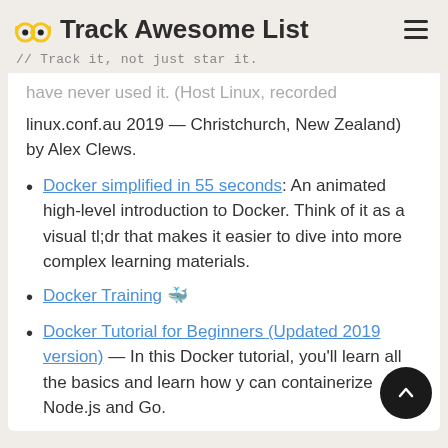Track Awesome List
// Track it, not just star it.
have never used it. (Host Linux, recorded linux.conf.au 2019 — Christchurch, New Zealand) by Alex Clews.
Docker simplified in 55 seconds: An animated high-level introduction to Docker. Think of it as a visual tl;dr that makes it easier to dive into more complex learning materials.
Docker Training 🐳
Docker Tutorial for Beginners (Updated 2019 version) — In this Docker tutorial, you'll learn all the basics and learn how you can containerize Node.js and Go.